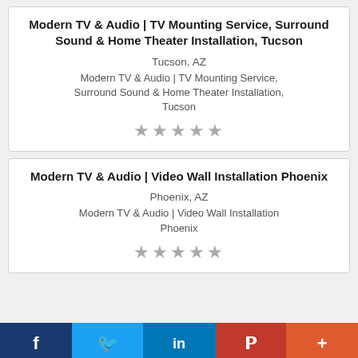Modern TV & Audio | TV Mounting Service, Surround Sound & Home Theater Installation, Tucson
Tucson, AZ
Modern TV & Audio | TV Mounting Service, Surround Sound & Home Theater Installation, Tucson
[Figure (other): Five empty/gray star rating symbols]
Modern TV & Audio | Video Wall Installation Phoenix
Phoenix, AZ
Modern TV & Audio | Video Wall Installation Phoenix
[Figure (other): Five empty/gray star rating symbols]
[Figure (infographic): Social sharing bar with Facebook, Twitter, LinkedIn, Pinterest, and More buttons]